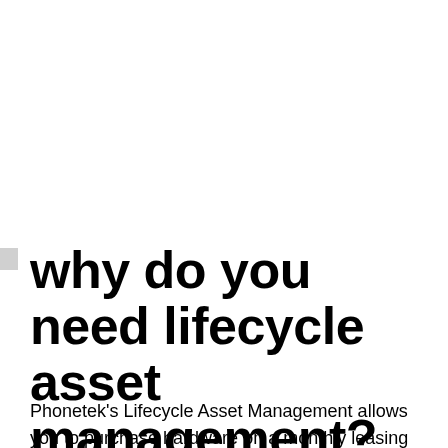why do you need lifecycle asset management?
Phonetek's Lifecycle Asset Management allows you to purchase hardware on a monthly leasing plan, giving you access to the